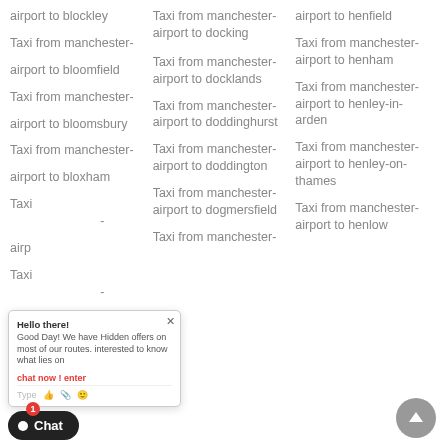airport to blockley
Taxi from manchester- airport to docking
airport to henfield
Taxi from manchester- airport to bloomfield
Taxi from manchester- airport to henham
Taxi from manchester- airport to docklands
Taxi from manchester- airport to bloomsbury
Taxi from manchester- airport to henley-in- arden
Taxi from manchester- airport to doddinghurst
airport to bloxham
Taxi from manchester- airport to doddington
Taxi from manchester- airport to henley-on- thames
Taxi from manchester- airport to dogmersfield
Taxi from manchester- airport to henlow
airport to blunham
Taxi from manchester-
[Figure (screenshot): Chat popup overlay with message: Hello there! Good Day! We have Hidden offers on most of our routes. interested to know what lies on... with Type input bar and emoji icons. Close X button top right.]
[Figure (screenshot): Chat widget button at bottom left with red badge showing 1, and scroll-to-top button at bottom right.]